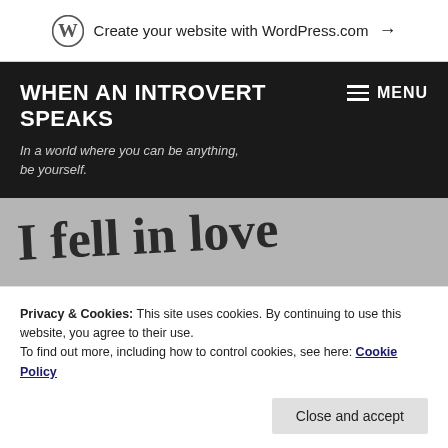Create your website with WordPress.com →
WHEN AN INTROVERT SPEAKS
In a world where you can be anything, be yourself.
[Figure (photo): Handwritten text on grey background reading 'I fell in love with you. Not for how']
Privacy & Cookies: This site uses cookies. By continuing to use this website, you agree to their use.
To find out more, including how to control cookies, see here: Cookie Policy
Close and accept